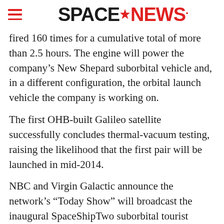SPACENEWS
fired 160 times for a cumulative total of more than 2.5 hours. The engine will power the company’s New Shepard suborbital vehicle and, in a different configuration, the orbital launch vehicle the company is working on.
The first OHB-built Galileo satellite successfully concludes thermal-vacuum testing, raising the likelihood that the first pair will be launched in mid-2014.
NBC and Virgin Galactic announce the network’s “Today Show” will broadcast the inaugural SpaceShipTwo suborbital tourist flight, for which there is still no date.